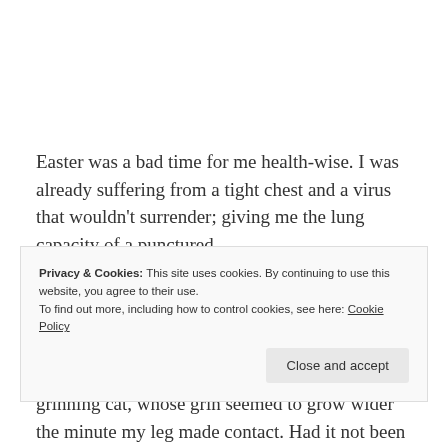Easter was a bad time for me health-wise. I was already suffering from a tight chest and a virus that wouldn't surrender; giving me the lung capacity of a punctured
Privacy & Cookies: This site uses cookies. By continuing to use this website, you agree to their use.
To find out more, including how to control cookies, see here: Cookie Policy
[Close and accept button]
grinning cat, whose grin seemed to grow wider the minute my leg made contact. Had it not been a gift from my daughter it would now be smashed to pieces and used as drainage material in the bottom of my bigger pots. It would be no more than it deserved.